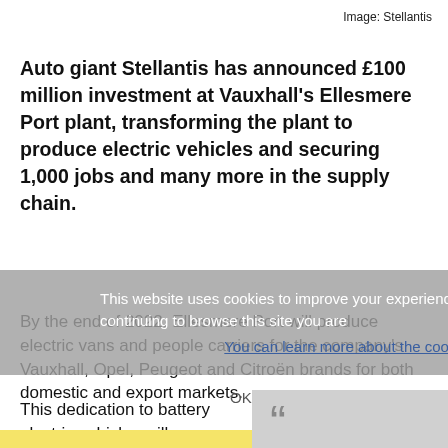Image: Stellantis
Auto giant Stellantis has announced £100 million investment at Vauxhall's Ellesmere Port plant, transforming the plant to produce electric vehicles and securing 1,000 jobs and many more in the supply chain.
By the end of 2022, Ellesmere Port will produce electric vans and people carriers for the company's Vauxhall, Opel, Peugeot and Citroën brands for both domestic and export markets.
This website uses cookies to improve your experience and for ads personalisation. By continuing to browse this site you are
You can learn more about the cookies we use here.
This dedication to battery electric vehicles will go towards achieving the UK
I particularly want to thank our highly skilled,